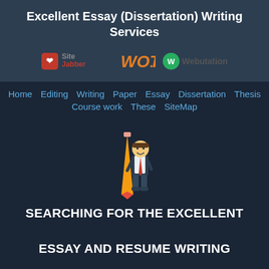Excellent Essay (Dissertation) Writing Services
[Figure (logo): Trust badge logos: SiteJabber, WOT, Webutation]
Home  Editing  Writing  Paper  Essay  Dissertation  Thesis  Course work  These  SiteMap
[Figure (illustration): Cartoon mascot of a man in suit holding a large pencil]
SEARCHING FOR THE EXCELLENT ESSAY AND RESUME WRITING SERVICES? CHECK OUR UNBIASED